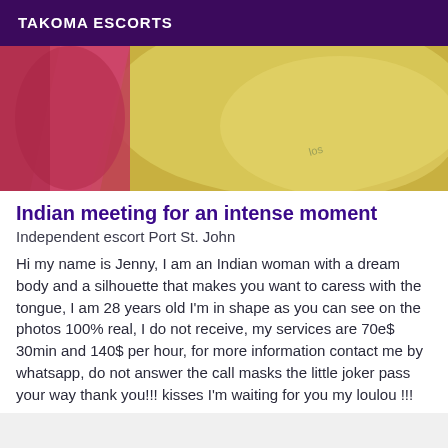TAKOMA ESCORTS
[Figure (photo): Close-up photo showing skin with a pink/red fabric element on the left and a yellowish-green toned body area with a tattoo visible on the right side.]
Indian meeting for an intense moment
Independent escort Port St. John
Hi my name is Jenny, I am an Indian woman with a dream body and a silhouette that makes you want to caress with the tongue, I am 28 years old I'm in shape as you can see on the photos 100% real, I do not receive, my services are 70e$ 30min and 140$ per hour, for more information contact me by whatsapp, do not answer the call masks the little joker pass your way thank you!!! kisses I'm waiting for you my loulou !!!